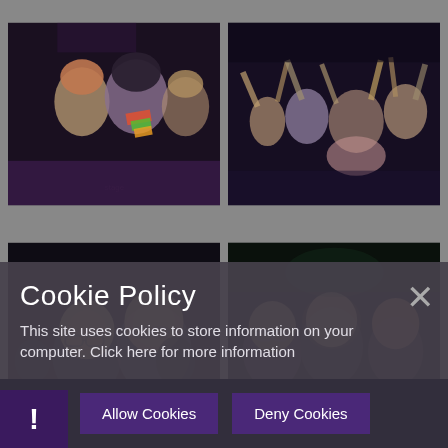[Figure (photo): Top-left: Theatre performance photo showing young performers singing on stage in period costumes, dark stage lighting]
[Figure (photo): Top-right: Theatre performance photo showing ensemble with arms raised on a dark stage]
[Figure (photo): Bottom-left: Theatre performance photo showing young performers wearing glasses, dimly lit audience scene]
[Figure (photo): Bottom-right: Theatre performance photo showing group of young performers in dark setting]
Cookie Policy
This site uses cookies to store information on your computer. Click here for more information
Allow Cookies
Deny Cookies